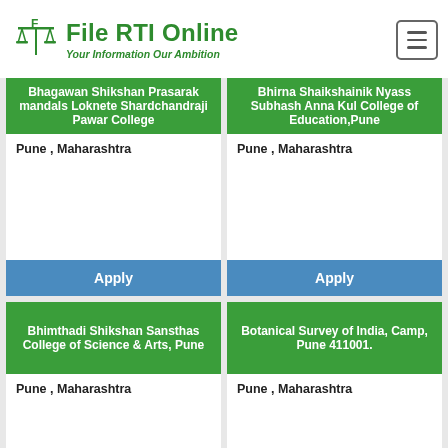File RTI Online — Your Information Our Ambition
Bhagawan Shikshan Prasarak mandals Loknete Shardchandraji Pawar College
Pune , Maharashtra
Apply
Bhirna Shaikshainik Nyass Subhash Anna Kul College of Education,Pune
Pune , Maharashtra
Apply
Bhimthadi Shikshan Sansthas College of Science & Arts, Pune
Pune , Maharashtra
Botanical Survey of India, Camp, Pune 411001.
Pune , Maharashtra